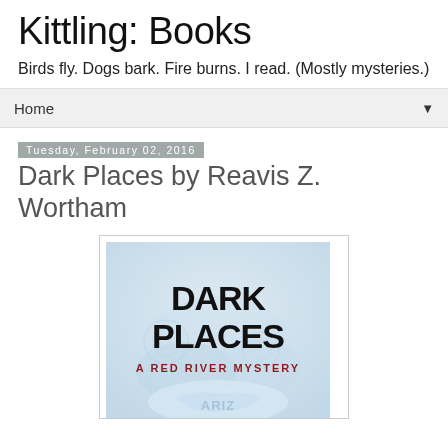Kittling: Books
Birds fly. Dogs bark. Fire burns. I read. (Mostly mysteries.)
Home ▼
Tuesday, February 02, 2016
Dark Places by Reavis Z. Wortham
[Figure (illustration): Book cover for Dark Places: A Red River Mystery by Reavis Z. Wortham. Black bold text reading DARK PLACES on a light blue/grey frosted background, with subtitle A RED RIVER MYSTERY in red letters.]